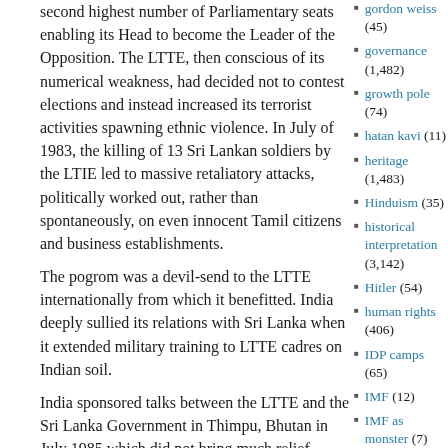second highest number of Parliamentary seats enabling its Head to become the Leader of the Opposition. The LTTE, then conscious of its numerical weakness, had decided not to contest elections and instead increased its terrorist activities spawning ethnic violence. In July of 1983, the killing of 13 Sri Lankan soldiers by the LTIE led to massive retaliatory attacks, politically worked out, rather than spontaneously, on even innocent Tamil citizens and business establishments.
The pogrom was a devil-send to the LTTE internationally from which it benefitted. India deeply sullied its relations with Sri Lanka when it extended military training to LTTE cadres on Indian soil.
India sponsored talks between the LTTE and the Sri Lanka Government in Thimpu, Bhutan in July 1985 which did not bring much relief.
gordon weiss (45)
governance (1,482)
growth pole (74)
hatan kavi (11)
heritage (1,483)
Hinduism (35)
historical interpretation (3,142)
Hitler (54)
human rights (406)
IDP camps (65)
IMF (12)
IMF as monster (7)
immigration (108)
immolation (11)
indian armed forces (25)
Indian General